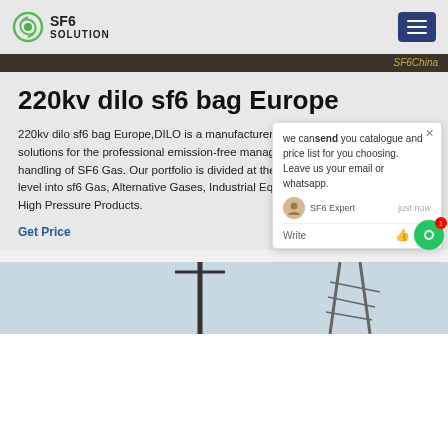SF6 SOLUTION
220kv dilo sf6 bag Europe
220kv dilo sf6 bag Europe,DILO is a manufacturer of system solutions for the professional emission-free management and handling of SF6 Gas. Our portfolio is divided at the product group level into sf6 Gas, Alternative Gases, Industrial Equipment and High Pressure Products.
Get Price
[Figure (screenshot): Chat popup overlay with message: we can send you catalogue and price list for you choosing. Leave us your email or whatsapp. SF6 Expert just now. Write row with thumb and paperclip icons. Green chat button with red badge showing 1.]